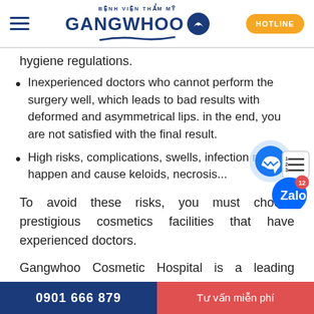BỆNH VIỆN THẨM MỸ GANGWHOO | HOTLINE
hygiene regulations.
Inexperienced doctors who cannot perform the surgery well, which leads to bad results with deformed and asymmetrical lips. in the end, you are not satisfied with the final result.
High risks, complications, swells, infection may happen and cause keloids, necrosis...
To avoid these risks, you must choose prestigious cosmetics facilities that have experienced doctors.
Gangwhoo Cosmetic Hospital is a leading reputable
0901 666 879 | Tư vấn miễn phí